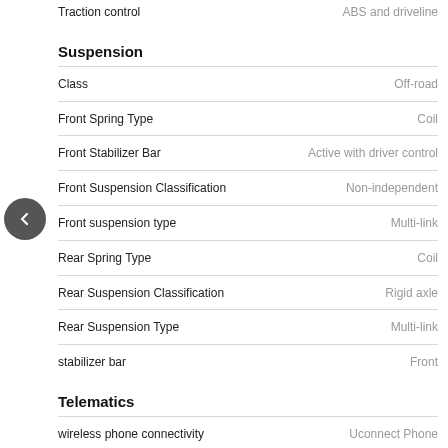| Feature | Value |
| --- | --- |
| Traction control | ABS and driveline |
Suspension
| Feature | Value |
| --- | --- |
| Class | Off-road |
| Front Spring Type | Coil |
| Front Stabilizer Bar | Active with driver control |
| Front Suspension Classification | Non-independent |
| Front suspension type | Multi-link |
| Rear Spring Type | Coil |
| Rear Suspension Classification | Rigid axle |
| Rear Suspension Type | Multi-link |
| stabilizer bar | Front |
Telematics
| Feature | Value |
| --- | --- |
| wireless phone connectivity | Uconnect Phone |
Tires